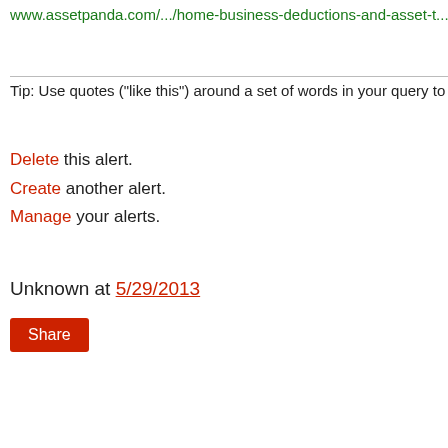www.assetpanda.com/.../home-business-deductions-and-asset-t...
Tip: Use quotes ("like this") around a set of words in your query to match the
Delete this alert.
Create another alert.
Manage your alerts.
Unknown at 5/29/2013
Share